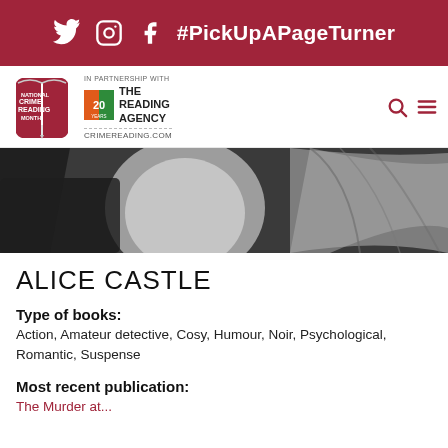Twitter Instagram Facebook #PickUpAPageTurner
[Figure (logo): National Crime Reading Month logo — open red book with text, in partnership with The Reading Agency (20 years), crimereading.com]
[Figure (photo): Black and white photograph showing the back of a person's hair/head]
ALICE CASTLE
Type of books:
Action, Amateur detective, Cosy, Humour, Noir, Psychological, Romantic, Suspense
Most recent publication:
The Murder at...